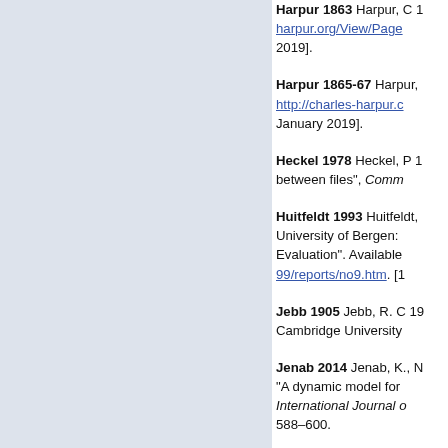Harpur 1863 Harpur, C 1863. harpur.org/View/Page... 2019].
Harpur 1865-67 Harpur, ... http://charles-harpur.c... January 2019].
Heckel 1978 Heckel, P 1... between files", Comm...
Huitfeldt 1993 Huitfeldt, ... University of Bergen: ... Evaluation". Available... 99/reports/no9.htm. [1...
Jebb 1905 Jebb, R. C 19... Cambridge University...
Jenab 2014 Jenab, K., N... "A dynamic model for... International Journal o... 588–600.
Juxta 2013 Juxta Comm... Available from: http://j... January 2019].
Muñoz 2015 Muñoz, T., a...